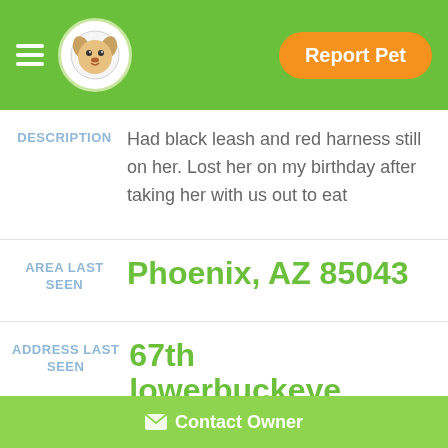Report Pet
DESCRIPTION: Had black leash and red harness still on her. Lost her on my birthday after taking her with us out to eat
AREA LAST SEEN: Phoenix, AZ 85043
ADDRESS LAST SEEN: 67th lowerbuckeye
Contact Owner